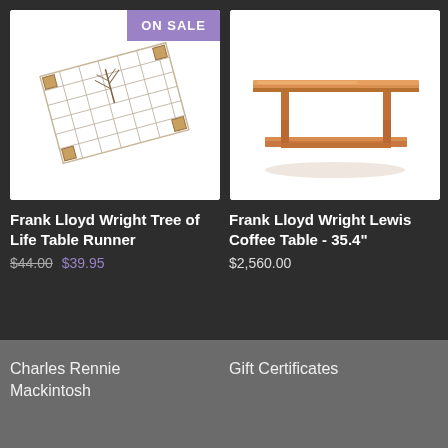[Figure (photo): Frank Lloyd Wright Tree of Life Table Runner product image with ON SALE badge]
[Figure (photo): Frank Lloyd Wright Lewis Coffee Table - 35.4 inch, a wooden coffee table with two tiers]
Frank Lloyd Wright Tree of Life Table Runner
$44.00 $39.95
Frank Lloyd Wright Lewis Coffee Table - 35.4"
$2,560.00
Charles Rennie Mackintosh
Gift Certificates